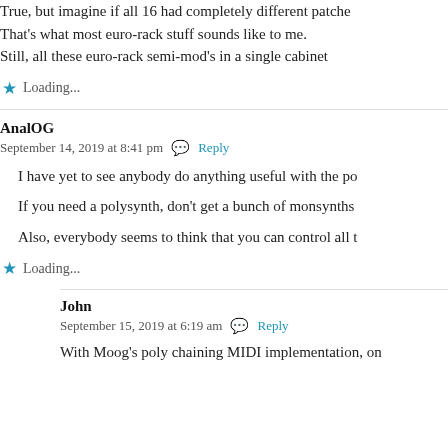True, but imagine if all 16 had completely different patches. That's what most euro-rack stuff sounds like to me. Still, all these euro-rack semi-mod's in a single cabinet
Loading...
AnalOG
September 14, 2019 at 8:41 pm Reply
I have yet to see anybody do anything useful with the po
If you need a polysynth, don't get a bunch of monsynths
Also, everybody seems to think that you can control all t
Loading...
John
September 15, 2019 at 6:19 am Reply
With Moog's poly chaining MIDI implementation, on